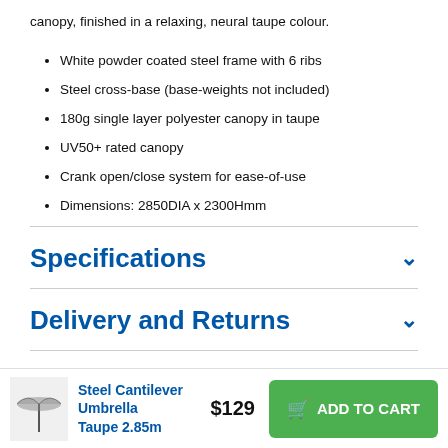canopy, finished in a relaxing, neural taupe colour.
White powder coated steel frame with 6 ribs
Steel cross-base (base-weights not included)
180g single layer polyester canopy in taupe
UV50+ rated canopy
Crank open/close system for ease-of-use
Dimensions: 2850DIA x 2300Hmm
Specifications
Delivery and Returns
DIY Ideas (1)